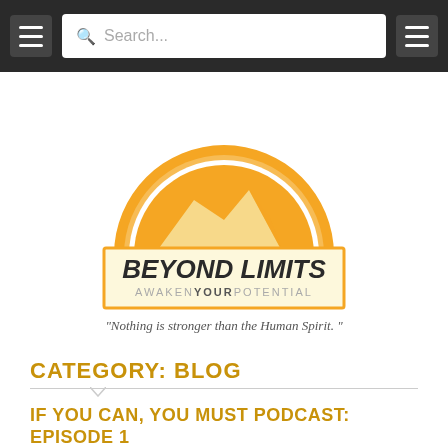Search...
[Figure (logo): Beyond Limits logo — orange semicircle sun above mountain silhouette with text BEYOND LIMITS and AWAKENYOURPOTENTIAL in a cream/yellow rectangle with orange border]
"Nothing is stronger than the Human Spirit. "
CATEGORY: BLOG
IF YOU CAN, YOU MUST PODCAST: EPISODE 1